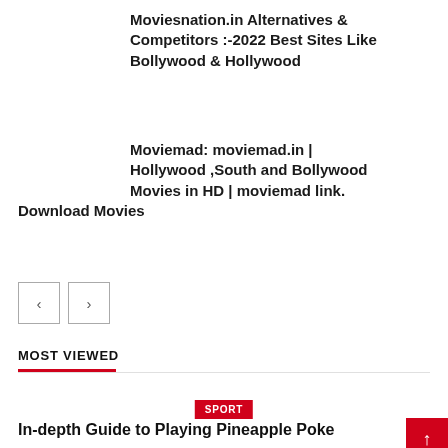Moviesnation.in Alternatives & Competitors :-2022 Best Sites Like Bollywood & Hollywood
Moviemad: moviemad.in | Hollywood ,South and Bollywood Movies in HD | moviemad link. Download Movies
[Figure (other): Navigation previous and next arrow buttons]
MOST VIEWED
SPORT
In-depth Guide to Playing Pineapple Poker